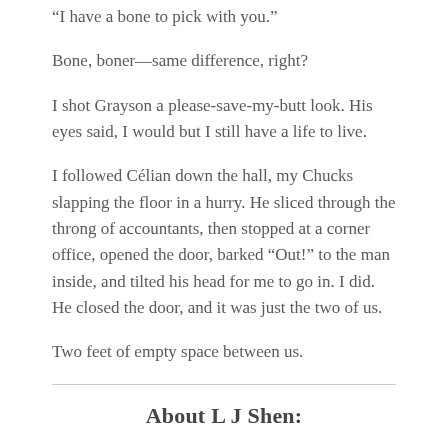“I have a bone to pick with you.”
Bone, boner—same difference, right?
I shot Grayson a please-save-my-butt look. His eyes said, I would but I still have a life to live.
I followed Célian down the hall, my Chucks slapping the floor in a hurry. He sliced through the throng of accountants, then stopped at a corner office, opened the door, barked “Out!” to the man inside, and tilted his head for me to go in. I did. He closed the door, and it was just the two of us.
Two feet of empty space between us.
About L J Shen: